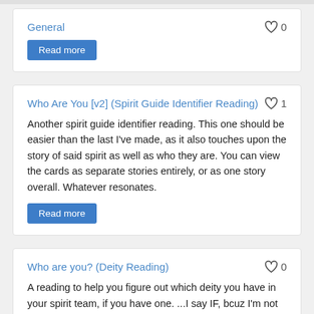General
♡ 0
Read more
Who Are You [v2] (Spirit Guide Identifier Reading) ♡ 1
Another spirit guide identifier reading. This one should be easier than the last I've made, as it also touches upon the story of said spirit as well as who they are. You can view the cards as separate stories entirely, or as one story overall. Whatever resonates.
Read more
Who are you? (Deity Reading)
♡ 0
A reading to help you figure out which deity you have in your spirit team, if you have one. ...I say IF, bcuz I'm not even sure if I have one myself, lol.